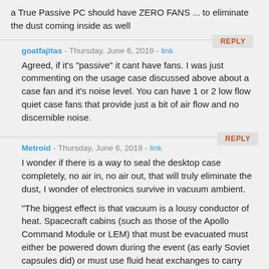a True Passive PC should have ZERO FANS ... to eliminate the dust coming inside as well
REPLY
goatfajitas - Thursday, June 6, 2019 - link
Agreed, if it's "passive" it cant have fans. I was just commenting on the usage case discussed above about a case fan and it's noise level. You can have 1 or 2 low flow quiet case fans that provide just a bit of air flow and no discernible noise.
REPLY
Metroid - Thursday, June 6, 2019 - link
I wonder if there is a way to seal the desktop case completely, no air in, no air out, that will truly eliminate the dust, I wonder of electronics survive in vacuum ambient.
"The biggest effect is that vacuum is a lousy conductor of heat. Spacecraft cabins (such as those of the Apollo Command Module or LEM) that must be evacuated must either be powered down during the event (as early Soviet capsules did) or must use fluid heat exchanges to carry away heat (as did